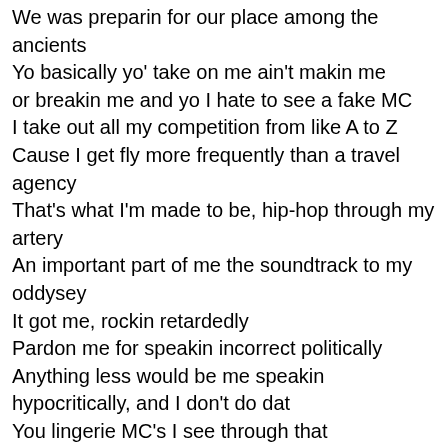We was preparin for our place among the ancients Yo basically yo' take on me ain't makin me or breakin me and yo I hate to see a fake MC I take out all my competition from like A to Z Cause I get fly more frequently than a travel agency That's what I'm made to be, hip-hop through my artery An important part of me the soundtrack to my oddysey It got me, rockin retardedly Pardon me for speakin incorrect politically Anything less would be me speakin hypocritically, and I don't do dat You lingerie MC's I see through that I make a point about you and your crew, go "Tru dat" Who dat? It's the Reflection Remember the name, slid in the game before the "2000 Season" came Breakin the chain, usin the pain as our ammunition to blast Babylonian towers out of position